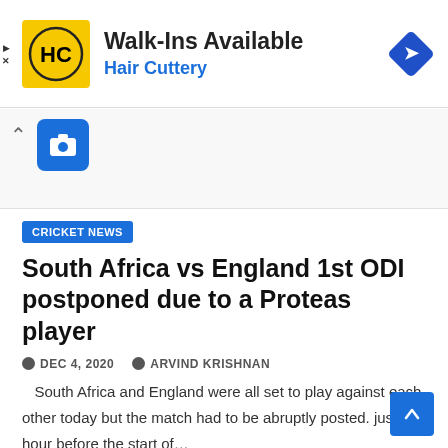[Figure (screenshot): Advertisement banner for Hair Cuttery with yellow HC logo, text 'Walk-Ins Available' in bold and 'Hair Cuttery' in blue, and a blue diamond navigation icon on the right.]
[Figure (screenshot): Screenshot UI element showing a chevron-up arrow and a blue camera icon button.]
CRICKET NEWS
South Africa vs England 1st ODI postponed due to a Proteas player
DEC 4, 2020   ARVIND KRISHNAN
South Africa and England were all set to play against each other today but the match had to be abruptly posted. just an hour before the start of...